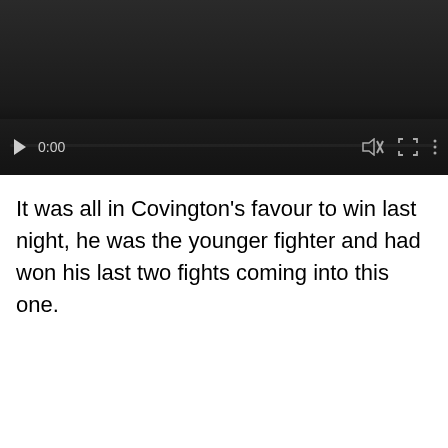[Figure (screenshot): A video player with dark background showing controls: play button, timestamp 0:00, mute icon, fullscreen icon, and more options icon. A progress bar is shown near the bottom of the player.]
It was all in Covington's favour to win last night, he was the younger fighter and had won his last two fights coming into this one.